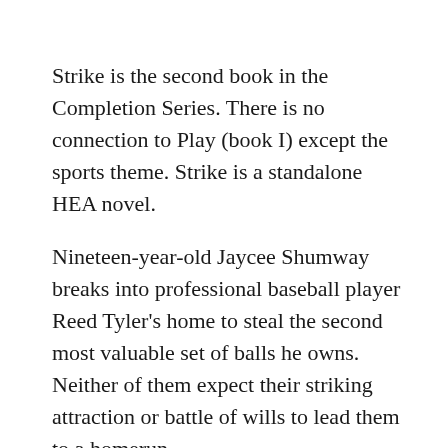Strike is the second book in the Completion Series. There is no connection to Play (book I) except the sports theme. Strike is a standalone HEA novel.
Nineteen-year-old Jaycee Shumway breaks into professional baseball player Reed Tyler's home to steal the second most valuable set of balls he owns. Neither of them expect their striking attraction or battle of wills to lead them to a homerun.
Jaycee has more than herself to worry about. When Reed discovers she has a younger brother and sister, he decides to win in their world of…